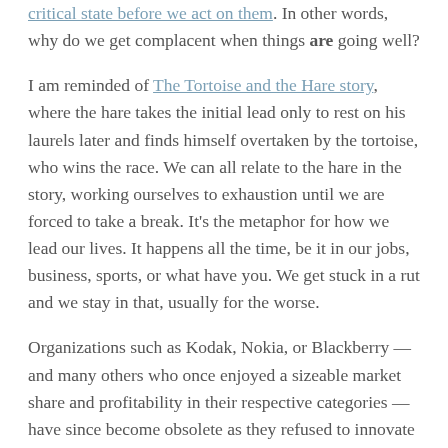critical state before we act on them. In other words, why do we get complacent when things are going well?
I am reminded of The Tortoise and the Hare story, where the hare takes the initial lead only to rest on his laurels later and finds himself overtaken by the tortoise, who wins the race. We can all relate to the hare in the story, working ourselves to exhaustion until we are forced to take a break. It’s the metaphor for how we lead our lives. It happens all the time, be it in our jobs, business, sports, or what have you. We get stuck in a rut and we stay in that, usually for the worse.
Organizations such as Kodak, Nokia, or Blackberry — and many others who once enjoyed a sizeable market share and profitability in their respective categories — have since become obsolete as they refused to innovate and adapt to the times. In other words, they became complacent with what worked and they eventually bit the dust. They didn’t see it coming (or chose to live in denial about it), but the writing was on the wall all along